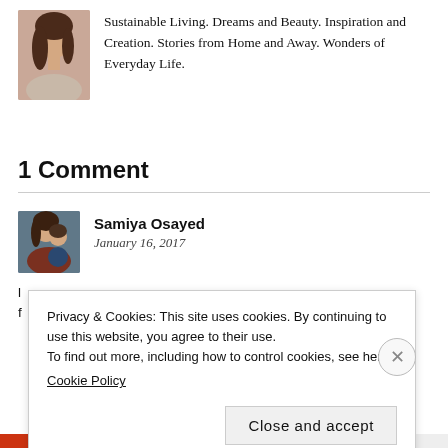[Figure (photo): Profile photo of a woman with long dark hair, wearing a light-colored top, cropped portrait style.]
Sustainable Living. Dreams and Beauty. Inspiration and Creation. Stories from Home and Away. Wonders of Everyday Life.
1 Comment
[Figure (photo): Avatar photo showing two people hugging, woman and child, outdoor setting.]
Samiya Osayed
January 16, 2017
Privacy & Cookies: This site uses cookies. By continuing to use this website, you agree to their use.
To find out more, including how to control cookies, see here:
Cookie Policy
Close and accept